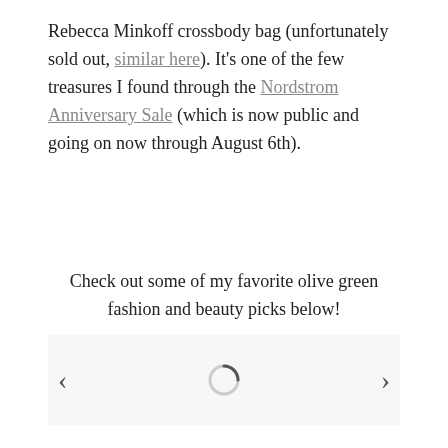Rebecca Minkoff crossbody bag (unfortunately sold out, similar here). It's one of the few treasures I found through the Nordstrom Anniversary Sale (which is now public and going on now through August 6th).
Check out some of my favorite olive green fashion and beauty picks below!
[Figure (other): A loading carousel widget with left and right navigation arrows and a spinning loading indicator in the center, on a light gray background.]